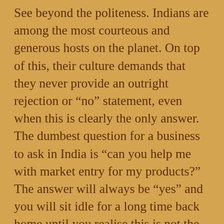See beyond the politeness. Indians are among the most courteous and generous hosts on the planet. On top of this, their culture demands that they never provide an outright rejection or “no” statement, even when this is clearly the only answer. The dumbest question for a business to ask in India is “can you help me with market entry for my products?” The answer will always be “yes” and you will sit idle for a long time back home until you realise this is not the right question. Within Indian culture built so solidly on relationship above all else, the word “no” is a real relationship breaker and is rarely or never used. “Yes” can in fact mean “maybe” or even “no” and you need to look for the signs. Like most of Asia, Indians are indirect communicators.